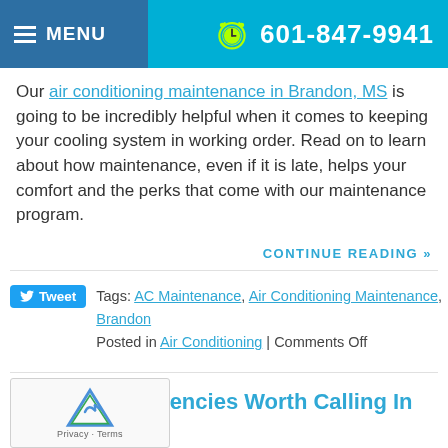MENU  601-847-9941
Our air conditioning maintenance in Brandon, MS is going to be incredibly helpful when it comes to keeping your cooling system in working order. Read on to learn about how maintenance, even if it is late, helps your comfort and the perks that come with our maintenance program.
CONTINUE READING »
Tweet  Tags: AC Maintenance, Air Conditioning Maintenance, Brandon  Posted in Air Conditioning | Comments Off
3 HVAC Emergencies Worth Calling In
September 10th, 2018
We could go